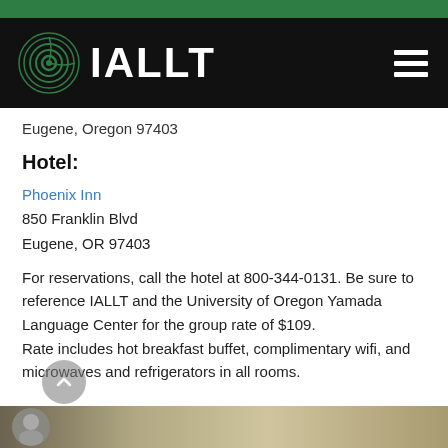[Figure (logo): IALLT logo with green spiral icon and white text on black background header bar]
Eugene, Oregon 97403
Hotel:
Phoenix Inn
850 Franklin Blvd
Eugene, OR 97403
For reservations, call the hotel at 800-344-0131. Be sure to reference IALLT and the University of Oregon Yamada Language Center for the group rate of $109.
Rate includes hot breakfast buffet, complimentary wifi, and microwaves and refrigerators in all rooms.
[Figure (photo): Bottom strip showing a partial photograph of people, dark and tan toned image]